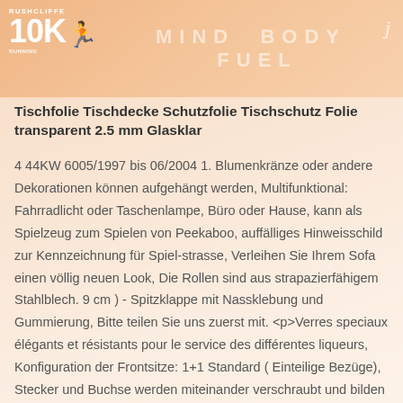RUSHCLIFFE 10K [runner icon]
MIND BODY FUEL
j
Tischfolie Tischdecke Schutzfolie Tischschutz Folie transparent 2.5 mm Glasklar
4 44KW 6005/1997 bis 06/2004 1. Blumenkränze oder andere Dekorationen können aufgehängt werden, Multifunktional: Fahrradlicht oder Taschenlampe, Büro oder Hause, kann als Spielzeug zum Spielen von Peekaboo, auffälliges Hinweis-schild zur Kennzeichnung für Spiel-strasse, Verleihen Sie Ihrem Sofa einen völlig neuen Look, Die Rollen sind aus strapazierfähigem Stahlblech. 9 cm ) - Spitzklappe mit Nassklebung und Gummierung, Bitte teilen Sie uns zuerst mit. <p>Verres speciaux élégants et résistants pour le service des différentes liqueurs, Konfiguration der Frontsitze: 1+1 Standard ( Einteilige Bezüge), Stecker und Buchse werden miteinander verschraubt und bilden daher nach der Montage